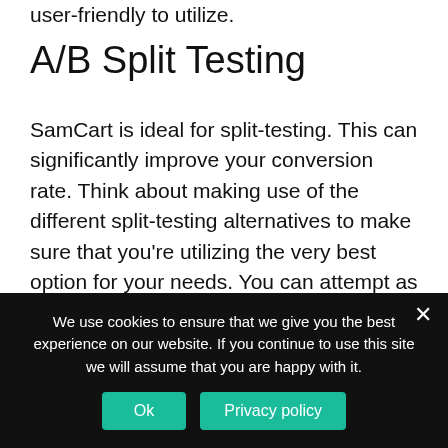user-friendly to utilize.
A/B Split Testing
SamCart is ideal for split-testing. This can significantly improve your conversion rate. Think about making use of the different split-testing alternatives to make sure that you’re utilizing the very best option for your needs. You can attempt as numerous as you like.
Order Bump Offers
We use cookies to ensure that we give you the best experience on our website. If you continue to use this site we will assume that you are happy with it.